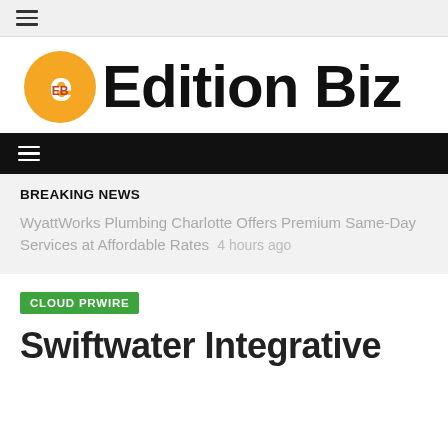[Figure (logo): Edition Biz logo with orange circular 'e' icon and bold black text 'Edition Biz']
BREAKING NEWS
WyattWorks Plumbing Charlotte Offers Premium Same-Day Services at Affordable Rates 4 hours ago
CLOUD PRWIRE
Swiftwater Integrative